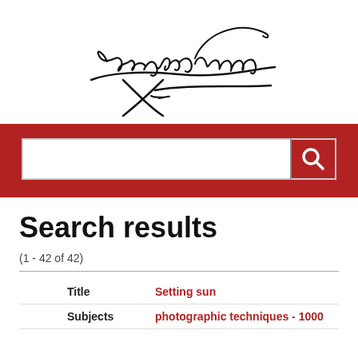[Figure (logo): Courtney Milne handwritten signature logo in black ink on white background]
[Figure (screenshot): Red search bar with white text input field and red search button with magnifying glass icon]
Search results
(1 - 42 of 42)
| Title | Setting sun |
| Subjects | photographic techniques - 1000 |